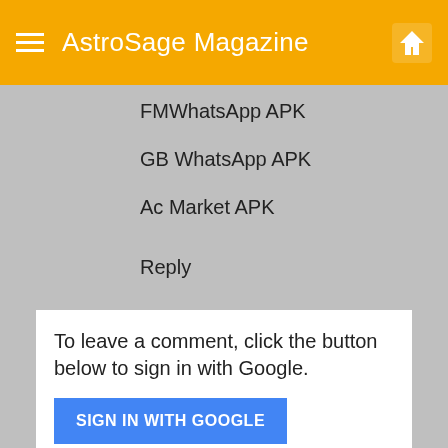AstroSage Magazine
FMWhatsApp APK
GB WhatsApp APK
Ac Market APK
Reply
To leave a comment, click the button below to sign in with Google.
SIGN IN WITH GOOGLE
Home
View web version
[Figure (screenshot): Made-in-China.com advertisement banner with logo and text 'Made-in-China.com Products']